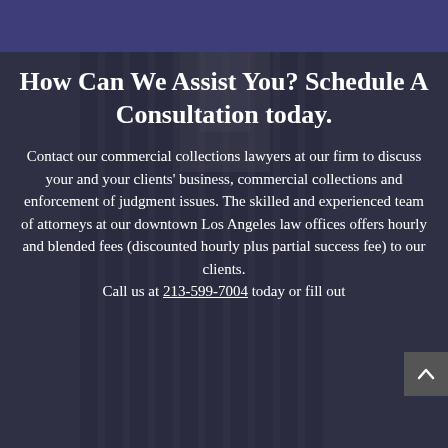How Can We Assist You? Schedule A Consultation today.
Contact our commercial collections lawyers at our firm to discuss your and your clients' business, commercial collections and enforcement of judgment issues. The skilled and experienced team of attorneys at our downtown Los Angeles law offices offers hourly and blended fees (discounted hourly plus partial success fee) to our clients. Call us at 213-599-7004 today or fill out